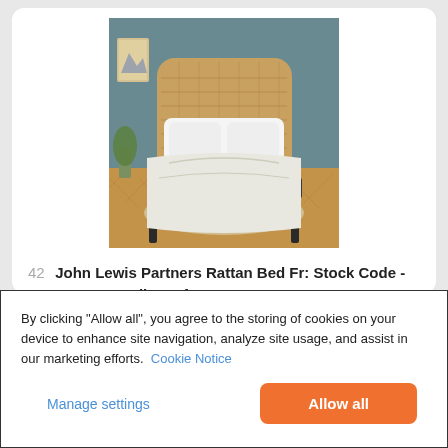[Figure (photo): Product photo of a John Lewis Partners Rattan Bed with wooden rattan headboard, black metal frame, white bedding, on a herringbone wood floor with a rug, against a blue-grey wall]
42  John Lewis Partners Rattan Bed Fr: Stock Code - 80350109 : Grading Info - RI002985292 Go...
Lot closed
By clicking “Allow all”, you agree to the storing of cookies on your device to enhance site navigation, analyze site usage, and assist in our marketing efforts.  Cookie Notice
Manage settings
Allow all